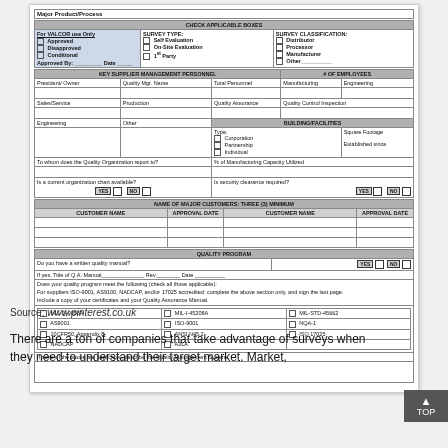[Figure (other): Scanned form image: VALCOR supplier quality survey form with checkboxes for survey type, survey classification, key supplier management personnel, building/facilities, quality program checkboxes (MIL-Q-9858A, AS9100, etc.), and name of major customers table.]
Source: www.pinterest.co.uk
There are a ton of companies that take advantage of surveys when they need to understand their target market. Market,